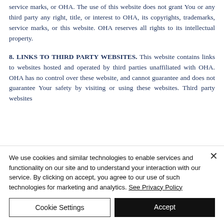service marks, or OHA. The use of this website does not grant You or any third party any right, title, or interest to OHA, its copyrights, trademarks, service marks, or this website. OHA reserves all rights to its intellectual property.
8. LINKS TO THIRD PARTY WEBSITES. This website contains links to websites hosted and operated by third parties unaffiliated with OHA. OHA has no control over these website, and cannot guarantee and does not guarantee Your safety by visiting or using these websites. Third party websites...
We use cookies and similar technologies to enable services and functionality on our site and to understand your interaction with our service. By clicking on accept, you agree to our use of such technologies for marketing and analytics. See Privacy Policy
Cookie Settings | Accept